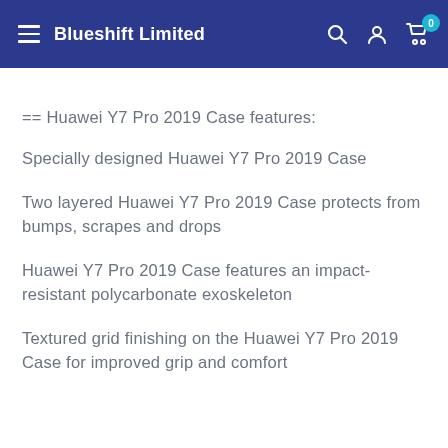Blueshift Limited
== Huawei Y7 Pro 2019 Case features:
Specially designed Huawei Y7 Pro 2019 Case
Two layered Huawei Y7 Pro 2019 Case protects from bumps, scrapes and drops
Huawei Y7 Pro 2019 Case features an impact-resistant polycarbonate exoskeleton
Textured grid finishing on the Huawei Y7 Pro 2019 Case for improved grip and comfort